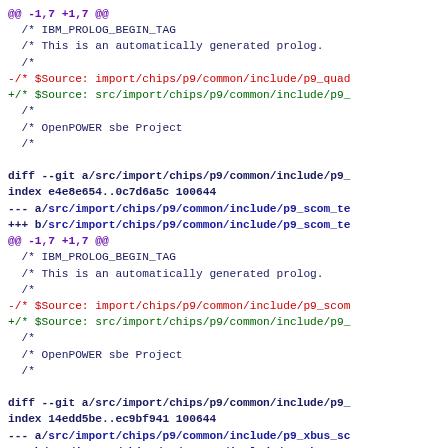@@ -1,7 +1,7 @@
 /* IBM_PROLOG_BEGIN_TAG
 /* This is an automatically generated prolog.
 /*
-/* $Source: import/chips/p9/common/include/p9_quad
+/* $Source: src/import/chips/p9/common/include/p9_
 /*
 /* OpenPOWER sbe Project
 /*
diff --git a/src/import/chips/p9/common/include/p9_
index e4e8e654..0c7d6a5c 100644
--- a/src/import/chips/p9/common/include/p9_scom_te
+++ b/src/import/chips/p9/common/include/p9_scom_te
@@ -1,7 +1,7 @@
 /* IBM_PROLOG_BEGIN_TAG
 /* This is an automatically generated prolog.
 /*
-/* $Source: import/chips/p9/common/include/p9_scom
+/* $Source: src/import/chips/p9/common/include/p9_
 /*
 /* OpenPOWER sbe Project
 /*
diff --git a/src/import/chips/p9/common/include/p9_
index 14edd5be..ec9bf941 100644
--- a/src/import/chips/p9/common/include/p9_xbus_sc
+++ b/src/import/chips/p9/common/include/p9_xbus_sc
@@ -1,7 +1,7 @@
 /* IBM_PROLOG_BEGIN_TAG
 /* This is an automatically generated prolog.